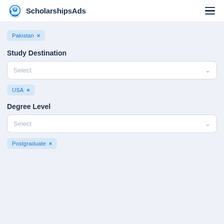ScholarshipsAds
Pakistan ×
Study Destination
Select
USA ×
Degree Level
Select
Postgraduate ×